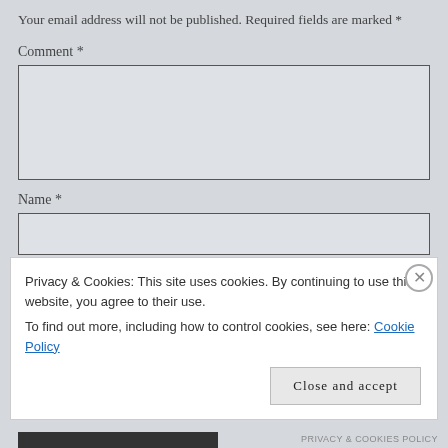Your email address will not be published. Required fields are marked *
Comment *
[Figure (other): Comment text area input box (empty)]
Name *
[Figure (other): Name single-line input box (empty)]
Email *
[Figure (other): Email single-line input box (partially visible)]
Privacy & Cookies: This site uses cookies. By continuing to use this website, you agree to their use.
To find out more, including how to control cookies, see here: Cookie Policy
Close and accept
PRIVACY & COOKIES POLICY